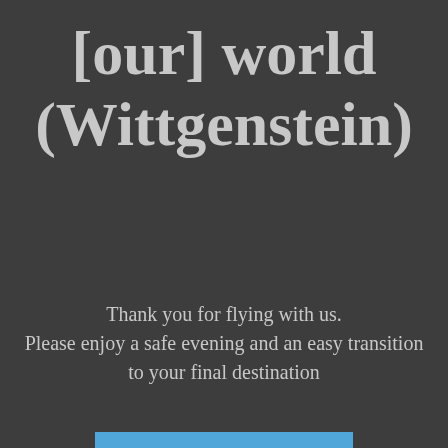[our] world (Wittgenstein)
Thank you for flying with us.
Please enjoy a safe evening and an easy transition to your final destination
[Figure (photo): Aerial photo of jet aircraft creating white contrail smoke trails forming a heart shape against a blue sky.]